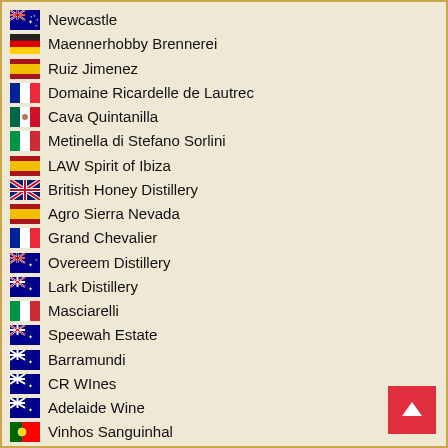Newcastle
Maennerhobby Brennerei
Ruiz Jimenez
Domaine Ricardelle de Lautrec
Cava Quintanilla
Metinella di Stefano Sorlini
LAW Spirit of Ibiza
British Honey Distillery
Agro Sierra Nevada
Grand Chevalier
Overeem Distillery
Lark Distillery
Masciarelli
Speewah Estate
Barramundi
CR WInes
Adelaide Wine
Vinhos Sanguinhal
Serene
Adega Ponte da Barca